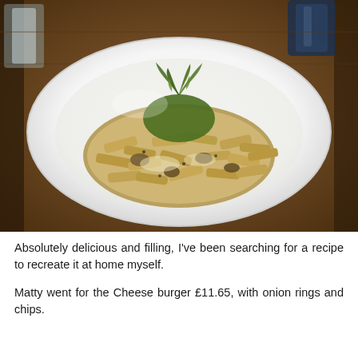[Figure (photo): A white bowl plate of penne pasta in a creamy sauce with mushrooms, garnished with fresh green herbs/fennel fronds on top, served on a wooden restaurant table with glasses and condiments visible in the background.]
Absolutely delicious and filling, I've been searching for a recipe to recreate it at home myself.
Matty went for the Cheese burger £11.65, with onion rings and chips.